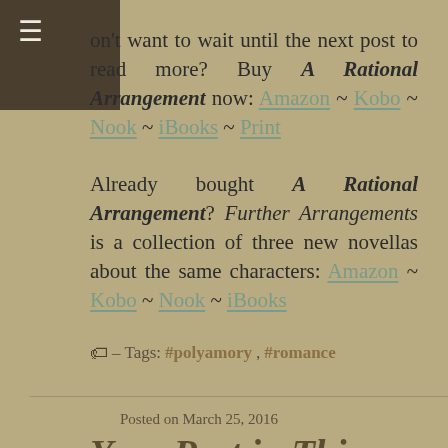on't want to wait until the next post to read more? Buy A Rational Arrangement now: Amazon ~ Kobo ~ Nook ~ iBooks ~ Print
Already bought A Rational Arrangement? Further Arrangements is a collection of three new novellas about the same characters: Amazon ~ Kobo ~ Nook ~ iBooks
– Tags: #polyamory, #romance
Posted on March 25, 2016
Your Part in This Script